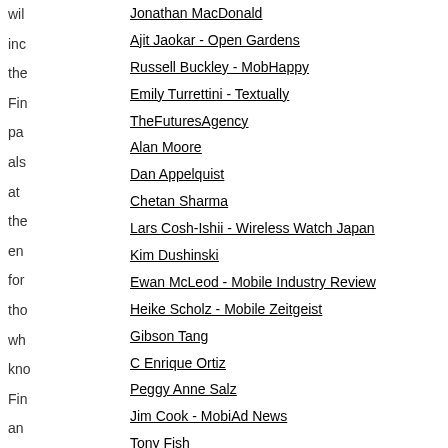wil
Jonathan MacDonald
inc
Ajit Jaokar - Open Gardens
the
Russell Buckley - MobHappy
Fin
Emily Turrettini - Textually
pa
TheFuturesAgency
als
Alan Moore
at
Dan Appelquist
the
Chetan Sharma
en
Lars Cosh-Ishii - Wireless Watch Japan
for
Kim Dushinski
tho
Ewan McLeod - Mobile Industry Review
wh
Heike Scholz - Mobile Zeitgeist
kno
Gibson Tang
Fin
C Enrique Ortiz
an
Peggy Anne Salz
mi
Jim Cook - MobiAd News
wa
Tony Fish
to